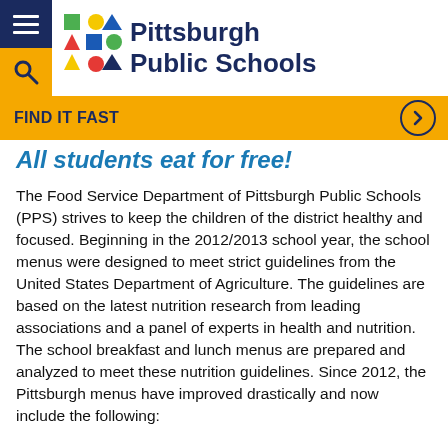[Figure (logo): Pittsburgh Public Schools logo with colorful geometric shapes (triangles, circles, squares in red, yellow, blue, green) and school name in dark blue text]
FIND IT FAST
All students eat for free!
The Food Service Department of Pittsburgh Public Schools (PPS) strives to keep the children of the district healthy and focused. Beginning in the 2012/2013 school year, the school menus were designed to meet strict guidelines from the United States Department of Agriculture. The guidelines are based on the latest nutrition research from leading associations and a panel of experts in health and nutrition. The school breakfast and lunch menus are prepared and analyzed to meet these nutrition guidelines. Since 2012, the Pittsburgh menus have improved drastically and now include the following: